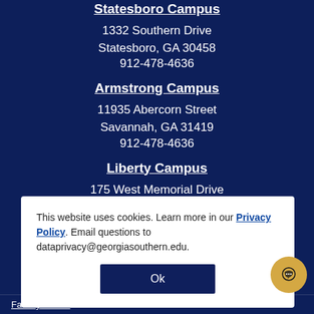Statesboro Campus
1332 Southern Drive
Statesboro, GA 30458
912-478-4636
Armstrong Campus
11935 Abercorn Street
Savannah, GA 31419
912-478-4636
Liberty Campus
175 West Memorial Drive
Hinesville, GA 31313
912-877-1906
This website uses cookies. Learn more in our Privacy Policy. Email questions to dataprivacy@georgiasouthern.edu.
Ok
SOURCES
s and Programs
Housing
nancial Aid
Registrar
Careers
Faculty & Staff